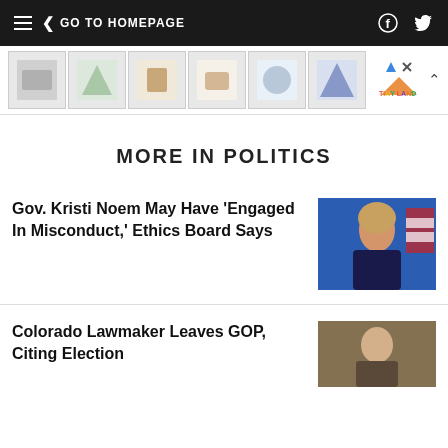GO TO HOMEPAGE
[Figure (photo): Advertisement banner with toy product images and Tiny Land logo]
MORE IN POLITICS
Gov. Kristi Noem May Have 'Engaged In Misconduct,' Ethics Board Says
[Figure (photo): Photo of Gov. Kristi Noem speaking at a podium with an American flag in the background]
Colorado Lawmaker Leaves GOP, Citing Election